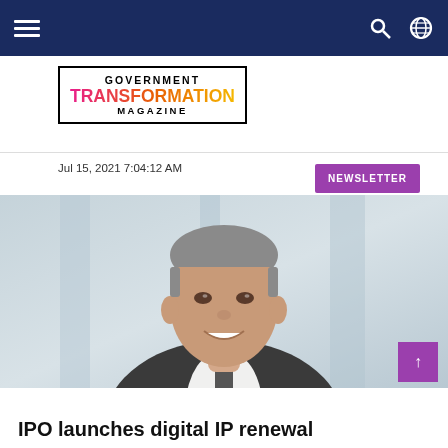Government Transformation Magazine — navigation bar
[Figure (logo): Government Transformation Magazine logo with multi-color TRANSFORMATION text in pink-orange-yellow gradient, flanked by horizontal rules, inside a black rectangular border]
NEWSLETTER
Jul 15, 2021 7:04:12 AM
[Figure (photo): Professional headshot of a middle-aged man in a dark suit and white shirt, smiling, with blurred background]
SERVICES
IPO launches digital IP renewal